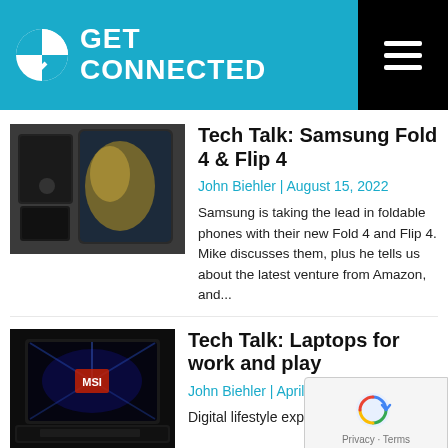GET CONNECTED
[Figure (photo): Samsung foldable phones - Galaxy Z Fold 4 product photo on dark surface]
Tech Talk: Samsung Fold 4 & Flip 4
John Biehler | August 15, 2022
Samsung is taking the lead in foldable phones with their new Fold 4 and Flip 4. Mike discusses them, plus he tells us about the latest venture from Amazon, and...
[Figure (photo): MSI gaming laptop with backlit keyboard on dark background]
Tech Talk: Laptops for work and play
John Biehler | April 27, 2...
Digital lifestyle expert Mike